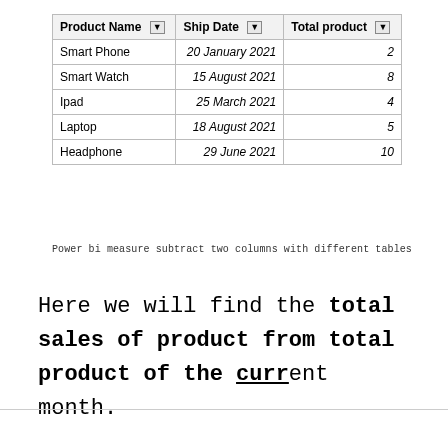| Product Name | Ship Date | Total product |
| --- | --- | --- |
| Smart Phone | 20 January 2021 | 2 |
| Smart Watch | 15 August 2021 | 8 |
| Ipad | 25 March 2021 | 4 |
| Laptop | 18 August 2021 | 5 |
| Headphone | 29 June 2021 | 10 |
Power bi measure subtract two columns with different tables
Here we will find the total sales of product from total product of the current month.